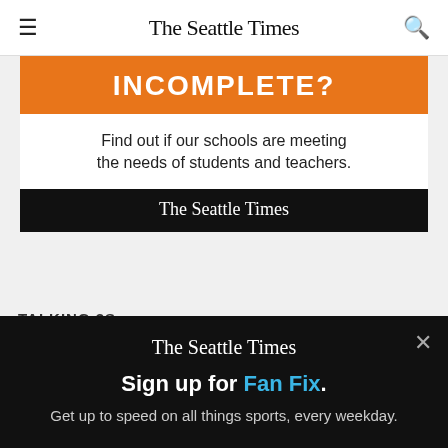The Seattle Times
[Figure (illustration): Advertisement banner for The Seattle Times with orange header reading 'INCOMPLETE?', white body text 'Find out if our schools are meeting the needs of students and teachers.', and black footer with The Seattle Times logo]
TALKING 3s
Memphis finally has a 3-point shooter this franchise
[Figure (screenshot): Popup overlay on black background: The Seattle Times logo, headline 'Sign up for Fan Fix.' and subtext 'Get up to speed on all things sports, every weekday.' with close button X]